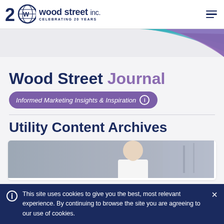Wood Street inc. CELEBRATING 20 YEARS
[Figure (illustration): Decorative banner with teal and purple wave shapes on light gray background]
Wood Street Journal
Informed Marketing Insights & Inspiration ℹ
Utility Content Archives
[Figure (photo): Person in white clothing looking downward, blurred background]
This site uses cookies to give you the best, most relevant experience. By continuing to browse the site you are agreeing to our use of cookies.